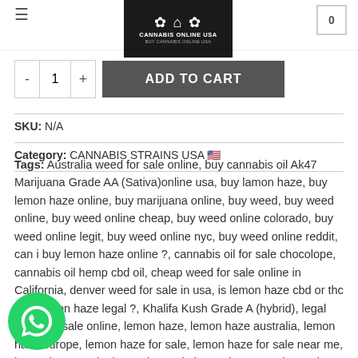Cannabis Online USA – Buy Cannabis Online USA
- 1 + ADD TO CART
SKU: N/A
Category: CANNABIS STRAINS USA 🇺🇸
Tags: Australia weed for sale online, buy cannabis oil Ak47 Marijuana Grade AA (Sativa)online usa, buy lamon haze, buy lemon haze online, buy marijuana online, buy weed, buy weed online, buy weed online cheap, buy weed online colorado, buy weed online legit, buy weed online nyc, buy weed online reddit, can i buy lemon haze online ?, cannabis oil for sale chocolope, cannabis oil hemp cbd oil, cheap weed for sale online in California, denver weed for sale in usa, is lemon haze cbd or thc ?, is lemon haze legal ?, Khalifa Kush Grade A (hybrid), legal weed for sale online, lemon haze, lemon haze australia, lemon haze europe, lemon haze for sale, lemon haze for sale near me, lemon haze strain, lemon haze uk, lemon haze usa, lemon haze weed, marijuana for sale in california, marijuana for sale in colorado, Marijuana marijuana for sale, medical marijuana for sale online, nyc weed for sale online, order lemon haze,
[Figure (logo): Cannabis Online USA logo — white text on black background with a leaf icon]